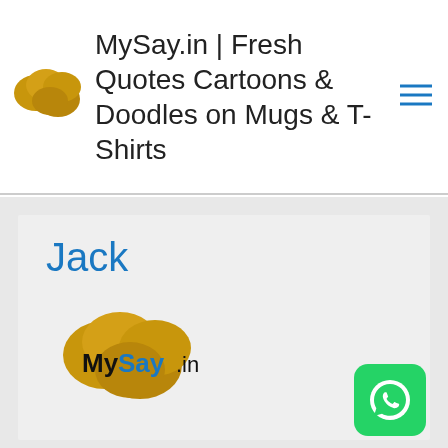[Figure (logo): MySay.in logo - golden blob shapes in header]
MySay.in | Fresh Quotes Cartoons & Doodles on Mugs & T-Shirts
[Figure (other): Hamburger menu icon (three horizontal lines) in blue]
Jack
[Figure (logo): MySay.in branded logo with golden blob background and text MySay.in]